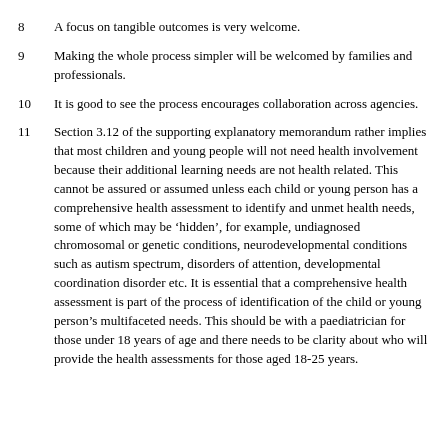8	A focus on tangible outcomes is very welcome.
9	Making the whole process simpler will be welcomed by families and professionals.
10	It is good to see the process encourages collaboration across agencies.
11	Section 3.12 of the supporting explanatory memorandum rather implies that most children and young people will not need health involvement because their additional learning needs are not health related. This cannot be assured or assumed unless each child or young person has a comprehensive health assessment to identify and unmet health needs, some of which may be ‘hidden’, for example, undiagnosed chromosomal or genetic conditions, neurodevelopmental conditions such as autism spectrum, disorders of attention, developmental coordination disorder etc. It is essential that a comprehensive health assessment is part of the process of identification of the child or young person’s multifaceted needs. This should be with a paediatrician for those under 18 years of age and there needs to be clarity about who will provide the health assessments for those aged 18-25 years.